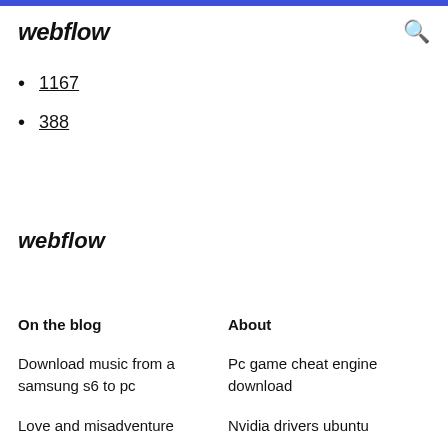webflow
1167
388
webflow
On the blog
About
Download music from a samsung s6 to pc
Pc game cheat engine download
Love and misadventure
Nvidia drivers ubuntu